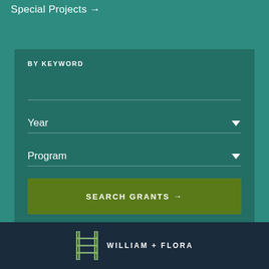Special Projects →
BY KEYWORD
Year
Program
SEARCH GRANTS →
WILLIAM + FLORA